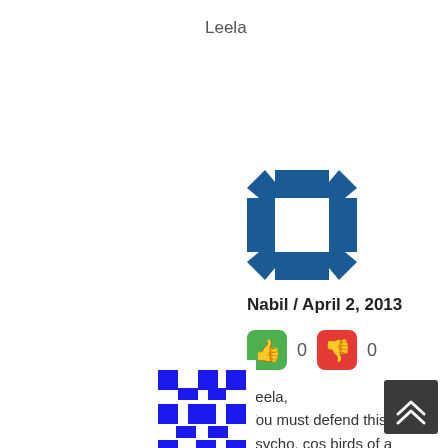Leela
[Figure (logo): Blue geometric quilt-pattern avatar icon for user Nabil]
Nabil / April 2, 2013
[Figure (infographic): Green thumbs-up vote button showing 0 and red thumbs-down vote button showing 0]
Leela,
You must defend this psycho, cos birds of a feather flock together ne? :)
[Figure (logo): Blue geometric pixel-pattern avatar icon for user Fair play]
Fair play / March 31, 2013
[Figure (infographic): Dark back-to-top button with double chevron up arrow]